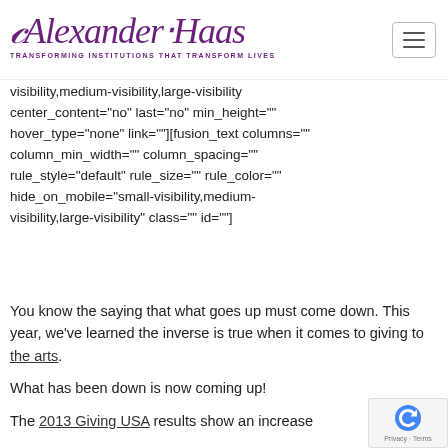Alexander Haas — TRANSFORMING INSTITUTIONS THAT TRANSFORM LIVES
visibility,medium-visibility,large-visibility center_content="no" last="no" min_height="" hover_type="none" link=""][fusion_text columns="" column_min_width="" column_spacing="" rule_style="default" rule_size="" rule_color="" hide_on_mobile="small-visibility,medium-visibility,large-visibility" class="" id=""]
You know the saying that what goes up must come down. This year, we've learned the inverse is true when it comes to giving to the arts.
What has been down is now coming up!
The 2013 Giving USA results show an increase...